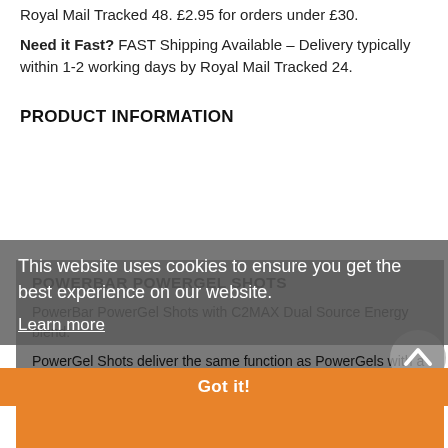Royal Mail Tracked 48. £2.95 for orders under £30.
Need it Fast? FAST Shipping Available – Delivery typically within 1-2 working days by Royal Mail Tracked 24.
PRODUCT INFORMATION
POWERBAR POWERGEL SHOTS
PowerBar PowerGel Shots with C2MAX Dual Source Energy blend.
PowerGel Shots deliver the same function as PowerGels with a scientifically developed combination of different carbohydrate sources. They are designed for before and during sport, easy to portion and taste great!
This website uses cookies to ensure you get the best experience on our website.
Learn more
Got it!